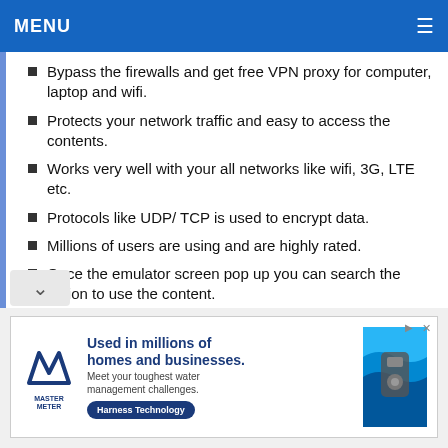MENU
Bypass the firewalls and get free VPN proxy for computer, laptop and wifi.
Protects your network traffic and easy to access the contents.
Works very well with your all networks like wifi, 3G, LTE etc.
Protocols like UDP/ TCP is used to encrypt data.
Millions of users are using and are highly rated.
Once the emulator screen pop up you can search the option to use the content.
[Figure (other): Advertisement for Master Meter: 'Used in millions of homes and businesses. Meet your toughest water management challenges. Harness Technology']